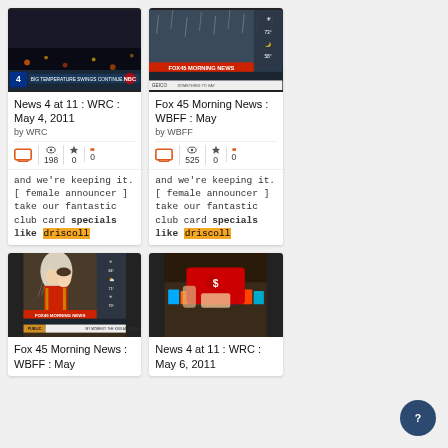[Figure (screenshot): TV news thumbnail - WRC News 4 at 11 night scene]
News 4 at 11 : WRC : May 4, 2011
by WRC
198 views, 0 stars, 0 quotes
and we're keeping it. [ female announcer ] take our fantastic club card specials like driscoll
[Figure (screenshot): Fox 45 Morning News WBFF thumbnail - rain/weather]
Fox 45 Morning News : WBFF : May
by WBFF
525 views, 0 stars, 0 quotes
and we're keeping it. [ female announcer ] take our fantastic club card specials like driscoll
[Figure (screenshot): Fox 45 Morning News WBFF thumbnail - royal wedding kiss]
Fox 45 Morning News : WBFF : May
[Figure (screenshot): News 4 at 11 WRC thumbnail - red card/grocery]
News 4 at 11 : WRC : May 6, 2011